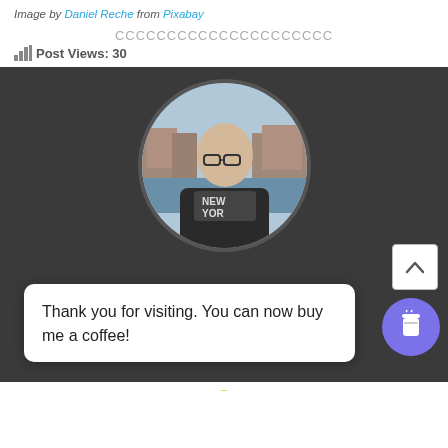Image by Daniel Reche from Pixabay
CCCCCCCCCCCCCCCCCCCCC
Post Views: 30
[Figure (photo): Dark background section with a circular profile photo of a bald man wearing glasses and a dark hoodie over a 'NEW YORK' shirt, standing outdoors with a waterfront and old buildings in the background. Below is a white card reading 'Thank you for visiting. You can now buy me a coffee!' with a scroll-to-top button and a purple coffee cup button.]